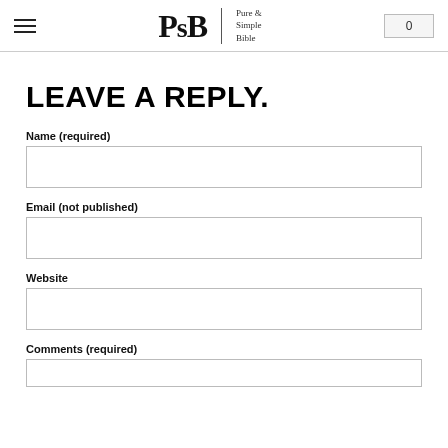PSB | Pure & Simple Bible | 0
LEAVE A REPLY.
Name (required)
Email (not published)
Website
Comments (required)